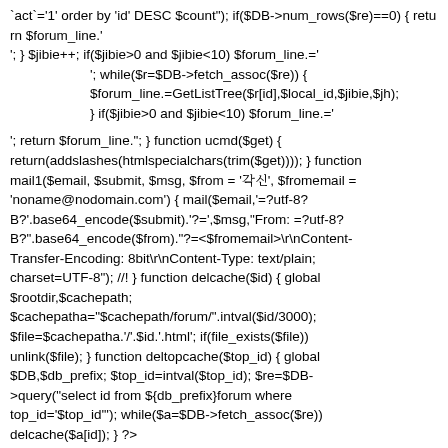`act`='1' order by 'id' DESC $count"); if($DB->num_rows($re)==0) { return $forum_line.'
'; } $jibie++; if($jibie>0 and $jibie<10) $forum_line.='

'; while($r=$DB->fetch_assoc($re)) {
$forum_line.=GetListTree($r[id],$local_id,$jibie,$jh);
} if($jibie>0 and $jibie<10) $forum_line.='

'; return $forum_line.""; } function ucmd($get) { return(addslashes(htmlspecialchars(trim($get)))); } function mail1($email, $submit, $msg, $from = '발신', $fromemail = 'noname@nodomain.com') { mail($email,'=?utf-8?B?'.base64_encode($submit).'?=',$msg,"From: =?utf-8?B?".base64_encode($from)."?=<$fromemail>\r\nContent-Transfer-Encoding: 8bit\r\nContent-Type: text/plain; charset=UTF-8"); //! } function delcache($id) { global $rootdir,$cachepath; $cachepatha="$cachepath/forum/".intval($id/3000); $file=$cachepatha.'/'.$id.'.html'; if(file_exists($file)) unlink($file); } function deltopcache($top_id) { global $DB,$db_prefix; $top_id=intval($top_id); $re=$DB->query("select id from ${db_prefix}forum where top_id='$top_id'"); while($a=$DB->fetch_assoc($re)) delcache($a[id]); } ?>